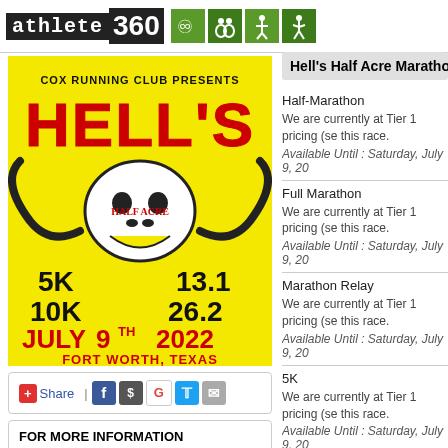athlete 360 [icons]
[Figure (illustration): Hell's Half Acre Marathon event poster on yellow background. Text reads: COX RUNNING CLUB PRESENTS HELL'S HALF ACRE. Shows a bull skull graphic. 5K 10K 13.1 26.2. JULY 9TH 2022. FORT WORTH, TEXAS.]
Share | [Facebook] [share] [Google] [Twitter] [email]
FOR MORE INFORMATION
Call Demery Cox at 817-793-3064 or email coxracingservices@gmail.com
You can also RSVP (and invite your friends) to the Facebook Event
Hell's Half Acre Marathon,
Half-Marathon
We are currently at Tier 1 pricing (se this race.
Available Until : Saturday, July 9, 20
Full Marathon
We are currently at Tier 1 pricing (se this race.
Available Until : Saturday, July 9, 20
Marathon Relay
We are currently at Tier 1 pricing (se this race.
Available Until : Saturday, July 9, 20
5K
We are currently at Tier 1 pricing (se this race.
Available Until : Saturday, July 9, 20